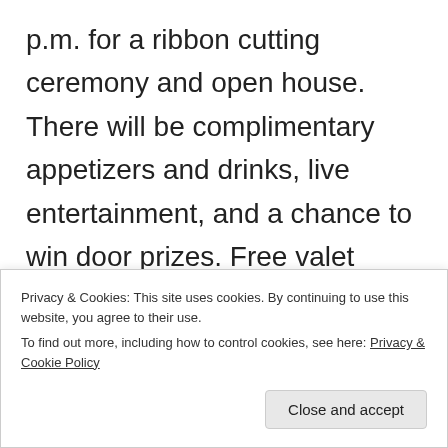p.m. for a ribbon cutting ceremony and open house. There will be complimentary appetizers and drinks, live entertainment, and a chance to win door prizes. Free valet parking will also be available.
Dr. Marc Michelson has bee the recipient of the "Best Doctors in America" award for 15 consecutive years and has performed the first...
Privacy & Cookies: This site uses cookies. By continuing to use this website, you agree to their use. To find out more, including how to control cookies, see here: Privacy & Cookie Policy